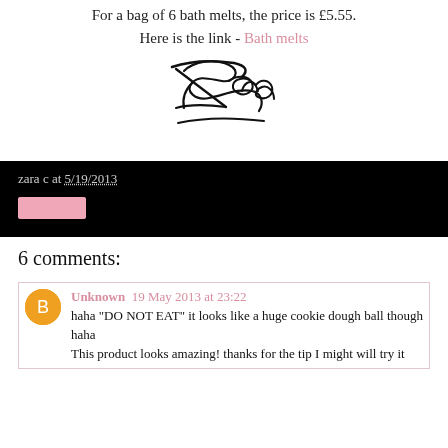For a bag of 6 bath melts, the price is £5.55. Here is the link - Bath melts
[Figure (illustration): Handwritten cursive signature reading 'Zara']
zara c at 5/19/2013
6 comments:
Unknown 19 May 2013 at 23:22
haha "DO NOT EAT" it looks like a huge cookie dough ball though haha
This product looks amazing! thanks for the tip I might will try it